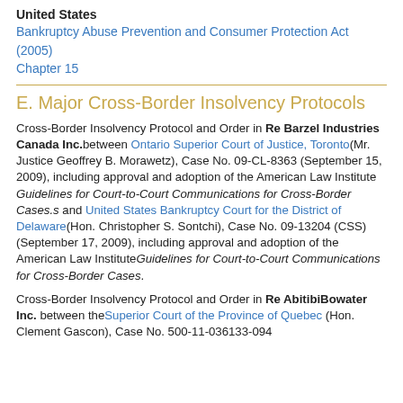United States
Bankruptcy Abuse Prevention and Consumer Protection Act (2005)
Chapter 15
E. Major Cross-Border Insolvency Protocols
Cross-Border Insolvency Protocol and Order in Re Barzel Industries Canada Inc. between Ontario Superior Court of Justice, Toronto (Mr. Justice Geoffrey B. Morawetz), Case No. 09-CL-8363 (September 15, 2009), including approval and adoption of the American Law Institute Guidelines for Court-to-Court Communications for Cross-Border Cases.s and United States Bankruptcy Court for the District of Delaware (Hon. Christopher S. Sontchi), Case No. 09-13204 (CSS) (September 17, 2009), including approval and adoption of the American Law Institute Guidelines for Court-to-Court Communications for Cross-Border Cases.
Cross-Border Insolvency Protocol and Order in Re AbitibiBowater Inc. between the Superior Court of the Province of Quebec (Hon. Clement Gascon), Case No. 500-11-036133-094